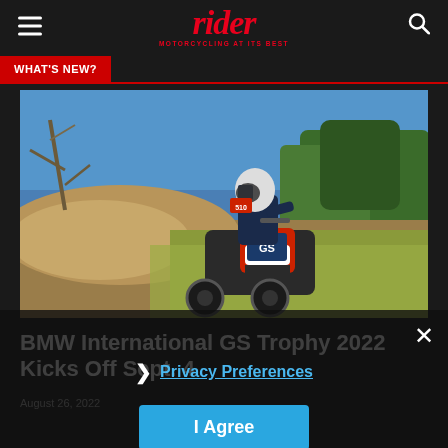rider — MOTORCYCLING AT ITS BEST
What's New?
[Figure (photo): A motorcycle rider on a BMW adventure bike navigating rocky off-road terrain with dry grass and trees in the background under a blue sky]
BMW International GS Trophy 2022 Kicks Off Sept. 4
August 26, 2022
Privacy Preferences
I Agree